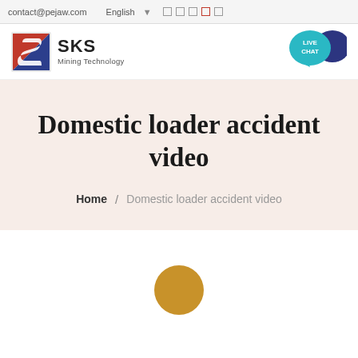contact@pejaw.com  English
[Figure (logo): SKS Mining Technology logo with red and blue geometric S icon]
[Figure (illustration): Teal speech bubble with LIVE CHAT text and dark blue chat icon]
Domestic loader accident video
Home / Domestic loader accident video